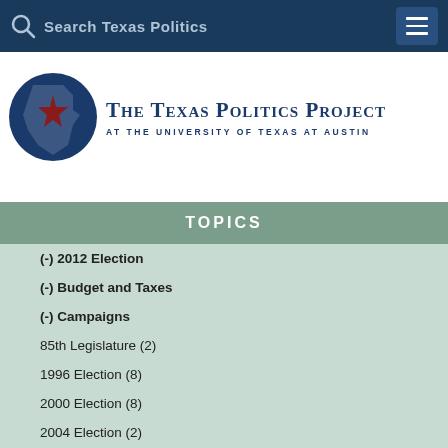Search Texas Politics
[Figure (logo): The Texas Politics Project at the University of Texas at Austin logo with Texas state outline and star]
TOPICS
(-) 2012 Election
(-) Budget and Taxes
(-) Campaigns
85th Legislature (2)
1996 Election (8)
2000 Election (8)
2004 Election (2)
2008 Election (8)
2014 Election (2)
2016 Election (11)